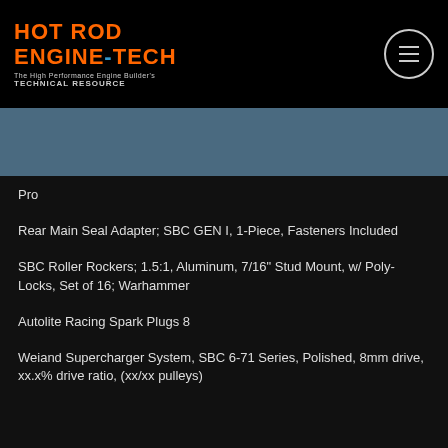HOT ROD ENGINE-TECH The High Performance Engine Builder's TECHNICAL RESOURCE
Pro
Rear Main Seal Adapter; SBC GEN I, 1-Piece, Fasteners Included
SBC Roller Rockers; 1.5:1, Aluminum, 7/16" Stud Mount, w/ Poly-Locks, Set of 16; Warhammer
Autolite Racing Spark Plugs 8
Weiand Supercharger System, SBC 6-71 Series, Polished, 8mm drive, xx.x% drive ratio, (xx/xx pulleys)